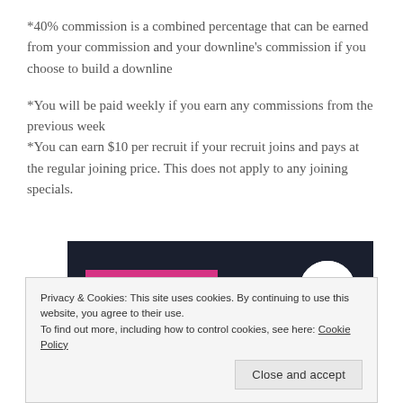*40% commission is a combined percentage that can be earned from your commission and your downline’s commission if you choose to build a downline
*You will be paid weekly if you earn any commissions from the previous week
*You can earn $10 per recruit if your recruit joins and pays at the regular joining price. This does not apply to any joining specials.
[Figure (screenshot): Dark navy banner with a pink 'Start a survey' button on the left and a circular white Crowd Signal logo on the right.]
Privacy & Cookies: This site uses cookies. By continuing to use this website, you agree to their use.
To find out more, including how to control cookies, see here: Cookie Policy
Close and accept